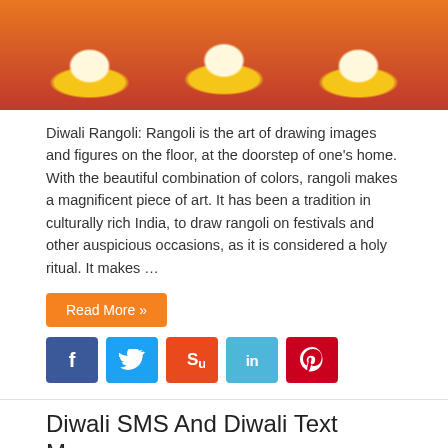[Figure (photo): Decorative Diwali diyas (oil lamps) with flowers on a colorful background, orange and yellow tones]
Diwali Rangoli: Rangoli is the art of drawing images and figures on the floor, at the doorstep of one's home. With the beautiful combination of colors, rangoli makes a magnificent piece of art. It has been a tradition in culturally rich India, to draw rangoli on festivals and other auspicious occasions, as it is considered a holy ritual. It makes …
Read More »
[Figure (other): Social media share buttons: Facebook, Twitter, StumbleUpon, LinkedIn, Pinterest]
Diwali SMS And Diwali Text Messages
4to40.com   November 3, 2021   Culture & Tradition of India   2,476
[Figure (photo): Hand holding a mobile phone, Diwali SMS image]